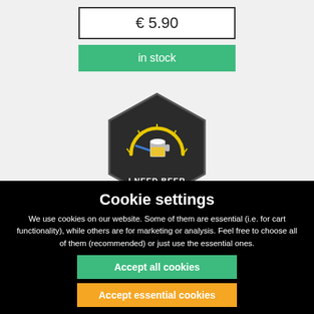€ 5.90
in stock
[Figure (illustration): Hexagonal patch badge with dark background showing a beer mug and fuel gauge graphic with the text 'I NEED BEER']
Cookie settings
We use cookies on our website. Some of them are essential (i.e. for cart functionality), while others are for marketing or analysis. Feel free to choose all of them (recommended) or just use the essential ones.
Accept all cookies
Accept essential cookies
Refuse cookies